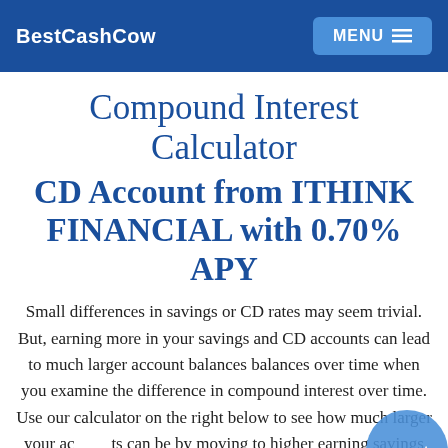BestCashCow   MENU
Compound Interest Calculator CD Account from ITHINK FINANCIAL with 0.70% APY
Small differences in savings or CD rates may seem trivial. But, earning more in your savings and CD accounts can lead to much larger account balances balances over time when you examine the difference in compound interest over time. Use our calculator on the right below to see how much larger your accounts can be by moving to higher earning savings and CD